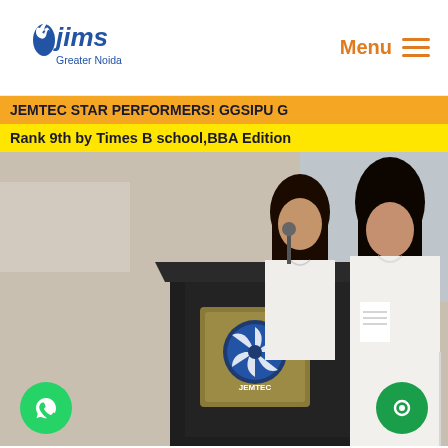[Figure (logo): JIMS Greater Noida logo with blue text and flame icon]
Menu ≡
JEMTEC STAR PERFORMERS! GGSIPU G
Rank 9th by Times B school,BBA Edition
[Figure (photo): Two female students in white salwar kameez standing at a dark podium with JEMTEC logo plaque, presenting at an event]